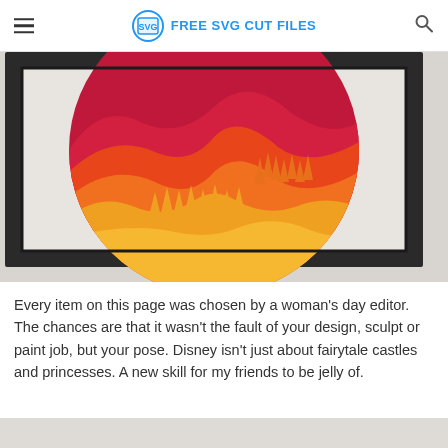FREE SVG CUT FILES
[Figure (photo): A framed layered paper craft artwork showing a circular design with mountain landscape, trees, and gradient sunset colors (yellow, orange, red, crimson) in a dark shadow box frame.]
Every item on this page was chosen by a woman's day editor. The chances are that it wasn't the fault of your design, sculpt or paint job, but your pose. Disney isn't just about fairytale castles and princesses. A new skill for my friends to be jelly of.
[Figure (photo): Partial view of another image below, showing a light gray/beige surface.]